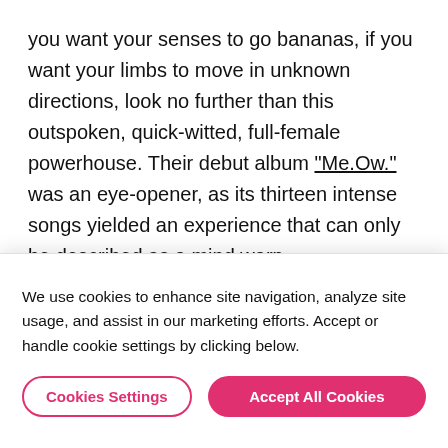you want your senses to go bananas, if you want your limbs to move in unknown directions, look no further than this outspoken, quick-witted, full-female powerhouse. Their debut album "Me.Ow." was an eye-opener, as its thirteen intense songs yielded an experience that can only be described as a mind warp.
[Figure (photo): Dark photograph strip showing a band or performers, cropped at bottom of text area]
We use cookies to enhance site navigation, analyze site usage, and assist in our marketing efforts. Accept or handle cookie settings by clicking below.